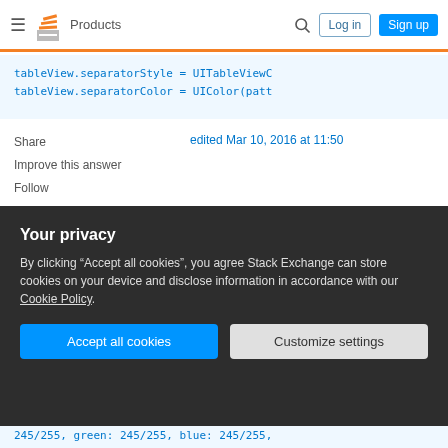≡ [Stack Overflow logo] Products 🔍 Log in Sign up
tableView.separatorStyle = UITableViewC
tableView.separatorColor = UIColor(patt
Share
edited Mar 10, 2016 at 11:50
Improve this answer
Follow
answered May 21, 2013 at 7:30
Sakshi
1,050 ● 12 ● 25
1. Awesome answer Thank you! – Septronic Sep 10
Your privacy
By clicking "Accept all cookies", you agree Stack Exchange can store cookies on your device and disclose information in accordance with our Cookie Policy.
Accept all cookies
Customize settings
245/255, green: 245/255, blue: 245/255,